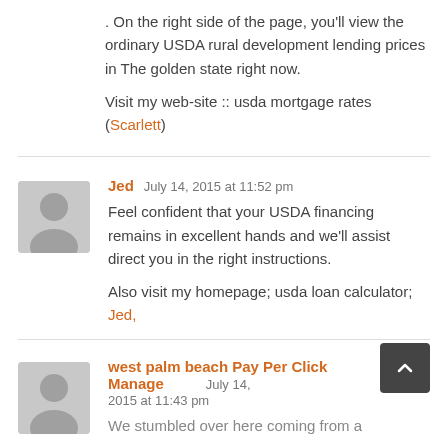. On the right side of the page, you'll view the ordinary USDA rural development lending prices in The golden state right now.

Visit my web-site :: usda mortgage rates (Scarlett)
Jed  July 14, 2015 at 11:52 pm

Feel confident that your USDA financing remains in excellent hands and we'll assist direct you in the right instructions.

Also visit my homepage; usda loan calculator; Jed,
west palm beach Pay Per Click Management  July 14, 2015 at 11:43 pm

We stumbled over here coming from a